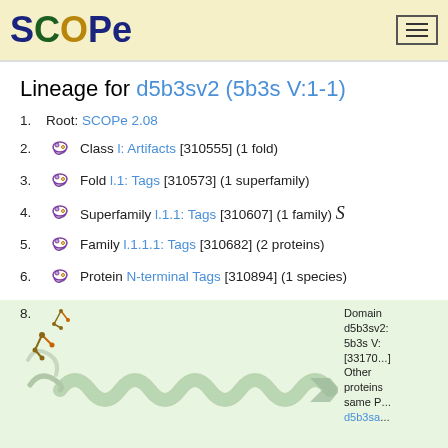SCOPe
Lineage for d5b3sv2 (5b3s V:1-1)
1. Root: SCOPe 2.08
2. Class l: Artifacts [310555] (1 fold)
3. Fold l.1: Tags [310573] (1 superfamily)
4. Superfamily l.1.1: Tags [310607] (1 family)
5. Family l.1.1.1: Tags [310682] (2 proteins)
6. Protein N-terminal Tags [310894] (1 species)
7. Species Synthetic [311501] (15325 PDB entries)
8. Domain d5b3sv2: 5b3s V: [331700] Other proteins in same PDB: d5b3sa...
[Figure (illustration): Protein structure ribbon diagram showing helical and loop regions, light green background]